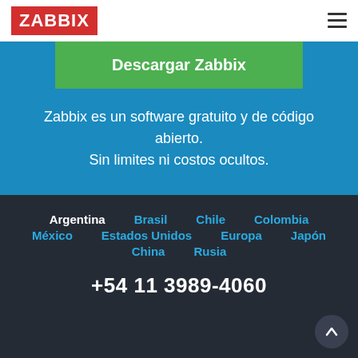[Figure (logo): Zabbix logo: white text on red rectangle background]
Descargar Zabbix
Zabbix es un software gratuito y de código abierto. Sin limites ni costos ocultos.
Argentina
Brasil
Chile
Colombia
México
Estados Unidos
Europa
Japón
China
Rusia
+54 11 3989-4060